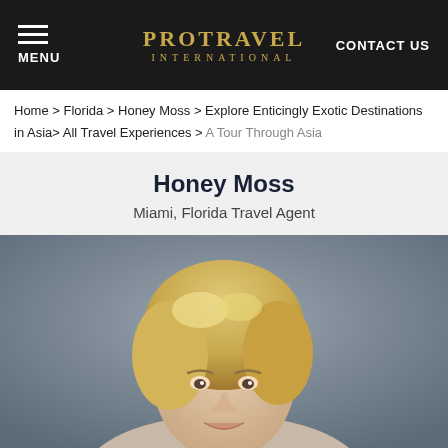PROTRAVEL INTERNATIONAL | MENU | CONTACT US
Home > Florida > Honey Moss > Explore Enticingly Exotic Destinations in Asia > All Travel Experiences > A Tour Through Asia
Honey Moss
Miami, Florida Travel Agent
[Figure (photo): Portrait photo of Honey Moss, a woman with short blonde hair, smiling, against a grey-blue background]